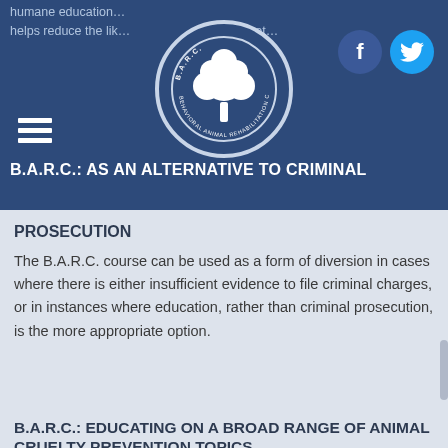humane education... helps reduce the likelihood... will not...
B.A.R.C.: AS AN ALTERNATIVE TO CRIMINAL PROSECUTION
The B.A.R.C. course can be used as a form of diversion in cases where there is either insufficient evidence to file criminal charges, or in instances where education, rather than criminal prosecution, is the more appropriate option.
B.A.R.C.: EDUCATING ON A BROAD RANGE OF ANIMAL CRUELTY PREVENTION TOPICS
The B.A.R.C. course addresses a broad range of animal cruelty prevention issues. The curriculum highlights the legal, moral, financial, and practical day-to-day commitments required of those who